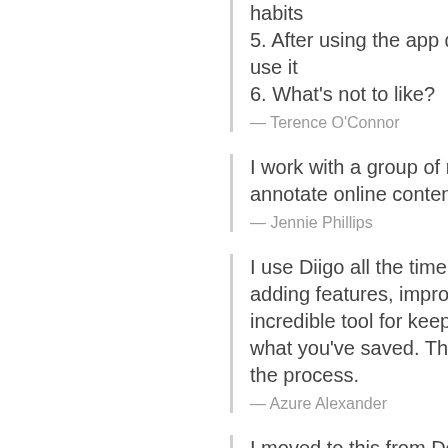habits
5. After using the app daily d use it
6. What's not to like?
— Terence O'Connor
I work with a group of resea annotate online content, but
— Jennie Phillips
I use Diigo all the time and a adding features, improving f incredible tool for keeping tra what you've saved. This exte the process.
— Azure Alexander
I moved to this from Deliciou can share bookmarks with m my bookmarks and annotatio
— Warrick Wynne